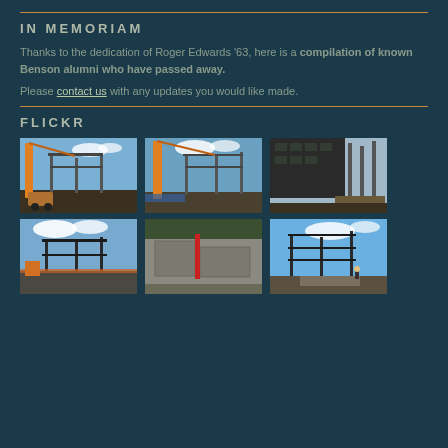IN MEMORIAM
Thanks to the dedication of Roger Edwards '63, here is a compilation of known Benson alumni who have passed away.

Please contact us with any updates you would like made.
FLICKR
[Figure (photo): Six construction site photographs arranged in a 3x2 grid showing a building under construction with steel framing, cranes, concrete work, and construction equipment.]